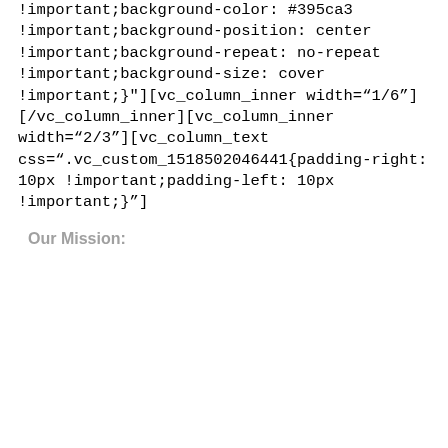!important;background-color: #395ca3 !important;background-position: center !important;background-repeat: no-repeat !important;background-size: cover !important;}"][vc_column_inner width="1/6"][/vc_column_inner][vc_column_inner width="2/3"][vc_column_text css=".vc_custom_1518502046441{padding-right: 10px !important;padding-left: 10px !important;}"]
Our Mission: